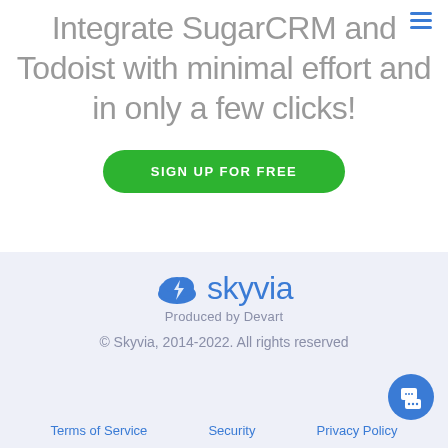Integrate SugarCRM and Todoist with minimal effort and in only a few clicks!
SIGN UP FOR FREE
[Figure (logo): Skyvia logo with cloud icon and text 'skyvia', with tagline 'Produced by Devart']
© Skyvia, 2014-2022. All rights reserved
Terms of Service   Security   Privacy Policy